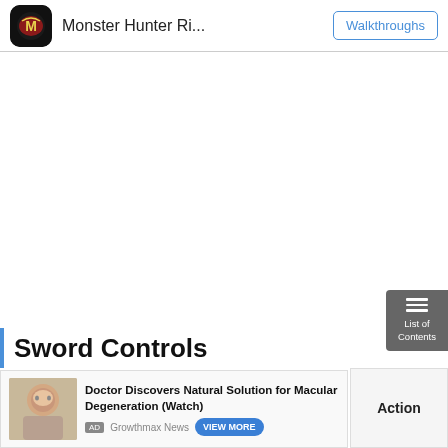Monster Hunter Ri... | Walkthroughs
[Figure (illustration): Large blank white content area with a 'List of Contents' button on the right side]
Sword Controls
[Figure (screenshot): Advertisement banner: Doctor Discovers Natural Solution for Macular Degeneration (Watch) - AD Growthmax News - VIEW MORE button]
Action